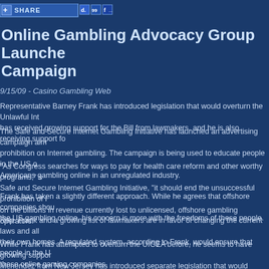[Figure (infographic): Share bar with social media icons including Delicious, Digg, and Facebook]
Online Gambling Advocacy Group Launches Campaign
9/15/09 - Casino Gambling Web
Representative Barney Frank has introduced legislation that would overturn the Unlawful Int... has received growing support for the Bill from lawmakers, and he is also receiving support fo...
The Safe and Secure Internet Gambling Initiative has launched an advertising campaign aim... prohibition on Internet gambling. The campaign is being used to educate people in the US o... Americans gambling online in an unregulated industry.
"As Congress searches for ways to pay for health care reform and other worthy programs," s... Safe and Secure Internet Gambling Initiative, "it should end the unsuccessful prohibition of I... on the billions in revenue currently lost to unlicensed, offshore gambling operators."
Frank has taken a slightly different approach. While he agrees that offshore companies shou... the US gambling online, his concern is more with the freedoms of these people.
Rep. Frank and a growing list of lawmakers are in favor of changing the current laws and all... their own homes. A regulated system, according to Frank, would ensure that people in the U... these online gaming companies.
While Frank has attempted to overturn the UIGEA before, he seems to have growing suppor... Menendez from New Jersey has introduced separate legislation that would legalize online po...
The new ad campaign from the Safe and Secure Internet Gambling Initiative will appear on a... Washington Post and The Huffington Post. Ads will also run on Politico.